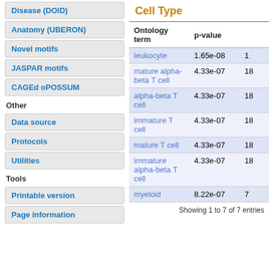Disease (DOID)
Anatomy (UBERON)
Novel motifs
JASPAR motifs
CAGEd oPOSSUM
Other
Data source
Protocols
Utilities
Tools
Printable version
Page information
Cell Type
| Ontology term | p-value |  |
| --- | --- | --- |
| leukocyte | 1.65e-08 | 1 |
| mature alpha-beta T cell | 4.33e-07 | 18 |
| alpha-beta T cell | 4.33e-07 | 18 |
| immature T cell | 4.33e-07 | 18 |
| mature T cell | 4.33e-07 | 18 |
| immature alpha-beta T cell | 4.33e-07 | 18 |
| myeloid | 8.22e-07 | 7 |
Showing 1 to 7 of 7 entries